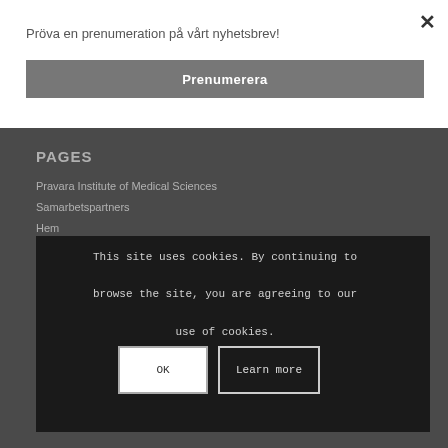Pröva en prenumeration på vårt nyhetsbrev!
Prenumerera
×
PAGES
Pravara Institute of Medical Sciences
Samarbetspartners
Hem
Hem
Händelser
Våra nuvarande projekt
Hjalpmedel s... för
Historik och ...
styrelse
This site uses cookies. By continuing to browse the site, you are agreeing to our use of cookies.
OK
Learn more
Styrelse